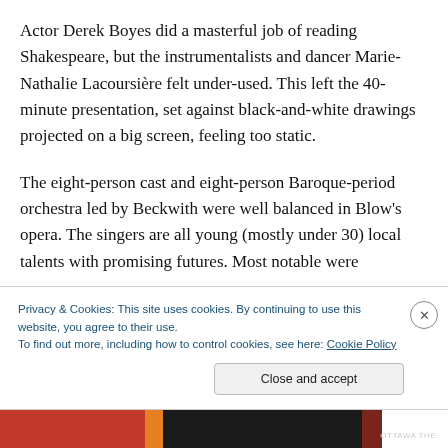Actor Derek Boyes did a masterful job of reading Shakespeare, but the instrumentalists and dancer Marie-Nathalie Lacoursière felt under-used. This left the 40-minute presentation, set against black-and-white drawings projected on a big screen, feeling too static.
The eight-person cast and eight-person Baroque-period orchestra led by Beckwith were well balanced in Blow's opera. The singers are all young (mostly under 30) local talents with promising futures. Most notable were
Privacy & Cookies: This site uses cookies. By continuing to use this website, you agree to their use.
To find out more, including how to control cookies, see here: Cookie Policy